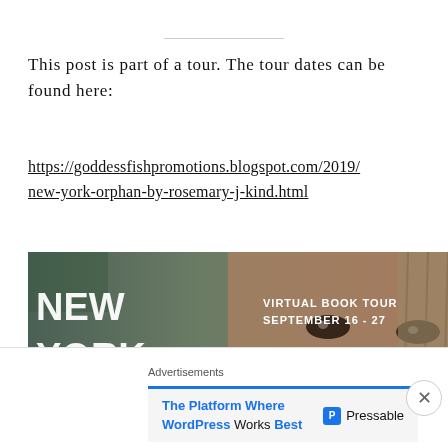This post is part of a tour. The tour dates can be found here:
https://goddessfishpromotions.blogspot.com/2019/new-york-orphan-by-rosemary-j-kind.html
[Figure (illustration): Banner image for 'New York Orphan' virtual book tour September 16-27, showing close-up of a child's face with text 'NEW YORK ORPHAN' and 'VIRTUAL BOOK TOUR SEPTEMBER 16 - 27']
Advertisements
The Platform Where WordPress Works Best   Pressable